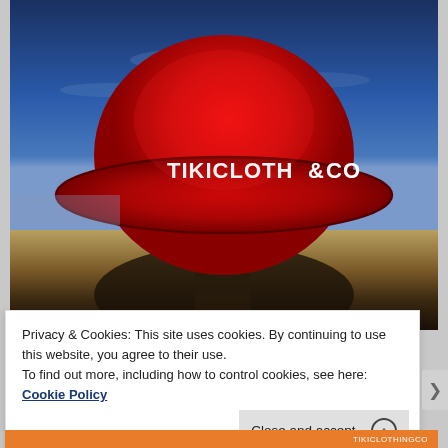[Figure (photo): A red bucket hat with 'TIKICLOTH&CO' text embroidered in white on the front, placed on a wooden post outdoors against a blue sky background.]
Privacy & Cookies: This site uses cookies. By continuing to use this website, you agree to their use.
To find out more, including how to control cookies, see here: Cookie Policy
Close and accept